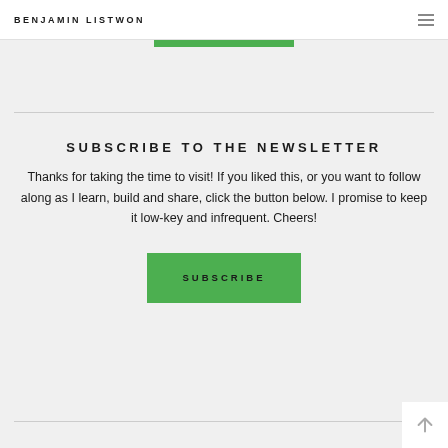BENJAMIN LISTWON
SUBSCRIBE TO THE NEWSLETTER
Thanks for taking the time to visit! If you liked this, or you want to follow along as I learn, build and share, click the button below. I promise to keep it low-key and infrequent. Cheers!
[Figure (other): Green SUBSCRIBE button]